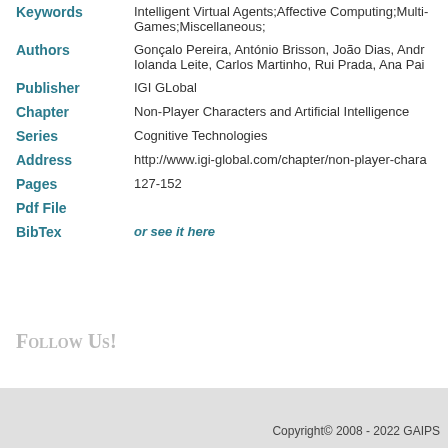| Field | Value |
| --- | --- |
| Keywords | Intelligent Virtual Agents;Affective Computing;Multi-Games;Miscellaneous; |
| Authors | Gonçalo Pereira, António Brisson, João Dias, Andr... Iolanda Leite, Carlos Martinho, Rui Prada, Ana Pai... |
| Publisher | IGI GLobal |
| Chapter | Non-Player Characters and Artificial Intelligence |
| Series | Cognitive Technologies |
| Address | http://www.igi-global.com/chapter/non-player-chara... |
| Pages | 127-152 |
| Pdf File |  |
| BibTex | or see it here |
Follow Us!
Copyright© 2008 - 2022 GAIPS